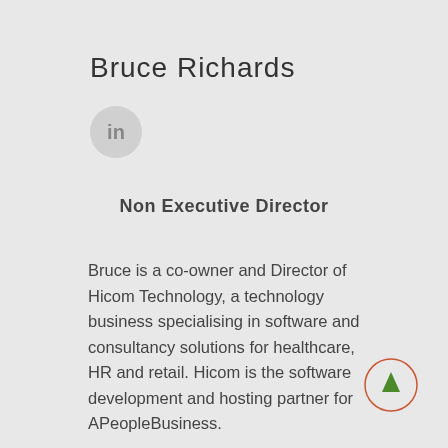Bruce Richards
[Figure (logo): LinkedIn circular icon with 'in' text on grey background]
Non Executive Director
Bruce is a co-owner and Director of Hicom Technology, a technology business specialising in software and consultancy solutions for healthcare, HR and retail. Hicom is the software development and hosting partner for APeopleBusiness.
[Figure (other): Orange circle button with green upward arrow]